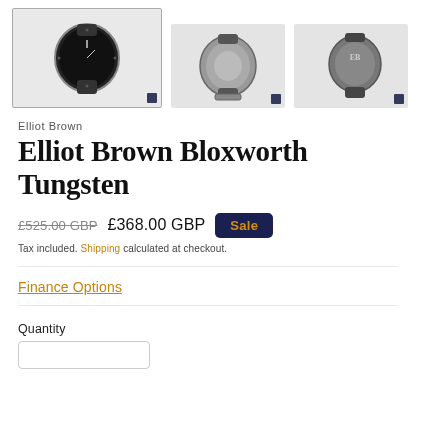[Figure (photo): Three product photos of the Elliot Brown Bloxworth Tungsten watch: front face view (main/selected), back clasp view, and side/back view, each shown as thumbnail images.]
Elliot Brown
Elliot Brown Bloxworth Tungsten
£525.00 GBP  £368.00 GBP  Sale
Tax included. Shipping calculated at checkout.
Finance Options
Quantity